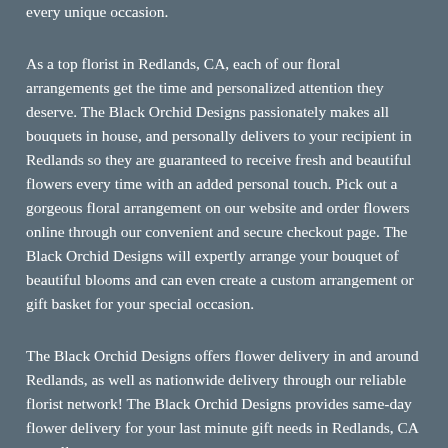every unique occasion.
As a top florist in Redlands, CA, each of our floral arrangements get the time and personalized attention they deserve. The Black Orchid Designs passionately makes all bouquets in house, and personally delivers to your recipient in Redlands so they are guaranteed to receive fresh and beautiful flowers every time with an added personal touch. Pick out a gorgeous floral arrangement on our website and order flowers online through our convenient and secure checkout page. The Black Orchid Designs will expertly arrange your bouquet of beautiful blooms and can even create a custom arrangement or gift basket for your special occasion.
The Black Orchid Designs offers flower delivery in and around Redlands, as well as nationwide delivery through our reliable florist network! The Black Orchid Designs provides same-day flower delivery for your last minute gift needs in Redlands, CA as well.